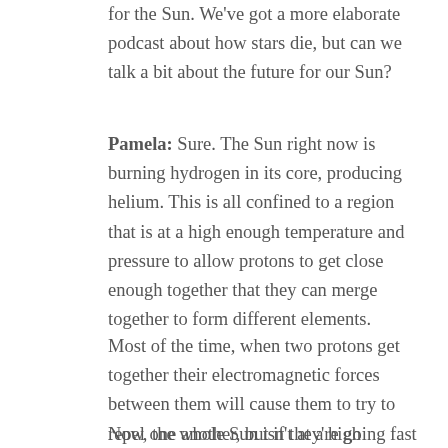for the Sun. We've got a more elaborate podcast about how stars die, but can we talk a bit about the future for our Sun?
Pamela: Sure. The Sun right now is burning hydrogen in its core, producing helium. This is all confined to a region that is at a high enough temperature and pressure to allow protons to get close enough together that they can merge together to form different elements.
Most of the time, when two protons get together their electromagnetic forces between them will cause them to try to repel one another, but if they're going fast enough, they don't have time to react and they'll get close enough that a different force will take over and they'll merge together.
Now, the whole Sun isn't at a high enough temperature/pressure to allow nuclear reactions to